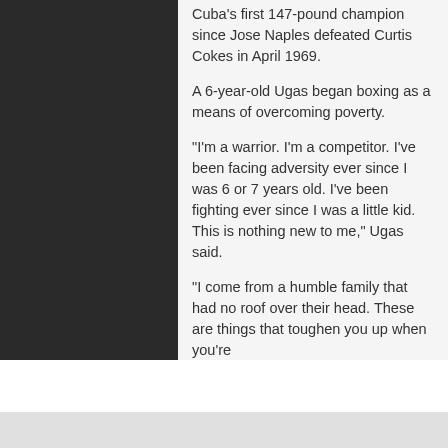Cuba's first 147-pound champion since Jose Naples defeated Curtis Cokes in April 1969.
A 6-year-old Ugas began boxing as a means of overcoming poverty.
“I’m a warrior. I’m a competitor. I’ve been facing adversity ever since I was 6 or 7 years old. I’ve been fighting ever since I was a little kid. This is nothing new to me,” Ugas said.
“I come from a humble family that had no roof over their head. These are things that toughen you up when you’re
infolinks